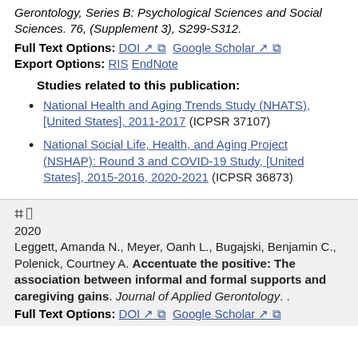Gerontology, Series B: Psychological Sciences and Social Sciences. 76, (Supplement 3), S299-S312.
Full Text Options: DOI ↗ [external] Google Scholar ↗ [external]
Export Options: RIS EndNote
Studies related to this publication:
National Health and Aging Trends Study (NHATS), [United States], 2011-2017 (ICPSR 37107)
National Social Life, Health, and Aging Project (NSHAP): Round 3 and COVID-19 Study, [United States], 2015-2016, 2020-2021 (ICPSR 36873)
📋
2020
Leggett, Amanda N., Meyer, Oanh L., Bugajski, Benjamin C., Polenick, Courtney A. Accentuate the positive: The association between informal and formal supports and caregiving gains. Journal of Applied Gerontology. .
Full Text Options: DOI ↗ [external] Google Scholar ↗ [external]